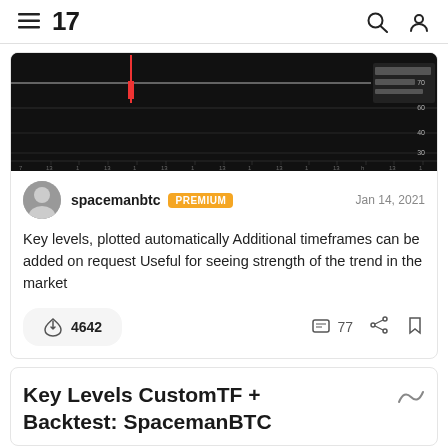TradingView navigation bar with hamburger menu, 17 logo, search icon, and user icon
[Figure (screenshot): Dark candlestick/line chart screenshot showing market price data with horizontal lines indicating key levels, time axis at bottom with tick marks]
spacemanbtc PREMIUM   Jan 14, 2021
Key levels, plotted automatically Additional timeframes can be added on request Useful for seeing strength of the trend in the market
4642   77
Key Levels CustomTF + Backtest: SpacemanBTC